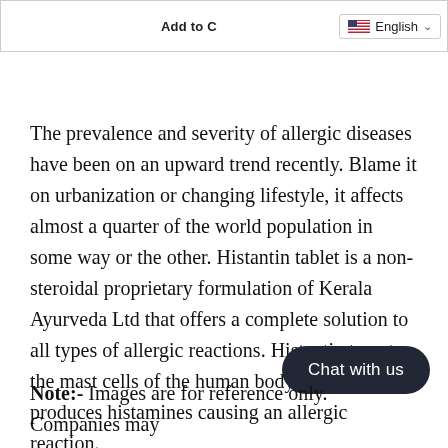Add to C... English ▾
The prevalence and severity of allergic diseases have been on an upward trend recently. Blame it on urbanization or changing lifestyle, it affects almost a quarter of the world population in some way or the other. Histantin tablet is a non-steroidal proprietary formulation of Kerala Ayurveda Ltd that offers a complete solution to all types of allergic reactions. Histantin targets the mast cells of the human body, which produces histamines causing an allergic reaction.
Note:-  Images are for reference only. Companies may